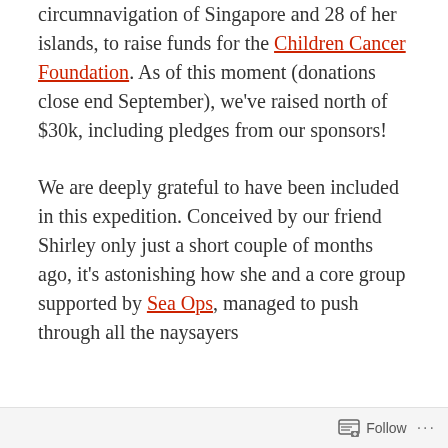circumnavigation of Singapore and 28 of her islands, to raise funds for the Children Cancer Foundation. As of this moment (donations close end September), we've raised north of $30k, including pledges from our sponsors!
We are deeply grateful to have been included in this expedition. Conceived by our friend Shirley only just a short couple of months ago, it's astonishing how she and a core group supported by Sea Ops, managed to push through all the naysayers
Follow ···